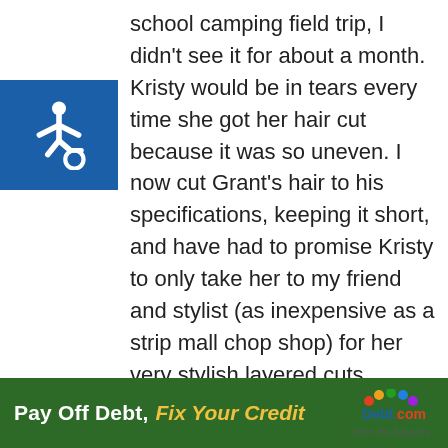[Figure (illustration): Blue square with white wheelchair accessibility icon]
school camping field trip, I didn't see it for about a month. Kristy would be in tears every time she got her hair cut because it was so uneven. I now cut Grant's hair to his specifications, keeping it short, and have had to promise Kristy to only take her to my friend and stylist (as inexpensive as a strip mall chop shop) for her very stylish layered cuts.
Last basketball season, I tried to make a deal with Ted, I would buy Grant's basketball shoes since he would be playing varsity, if Ted would pay the $50 basketball fee. Ted waited until I bought the shoes, then told me
[Figure (logo): Debt.com advertisement banner: green background with text 'Pay Off Debt, Fix Your Credit' and Debt.com logo]